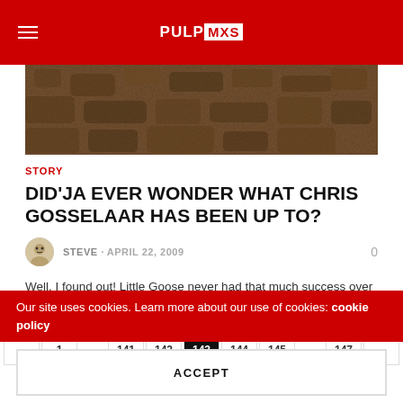PULPMX
[Figure (photo): Close-up photo of brown dirt/soil texture]
STORY
DID'JA EVER WONDER WHAT CHRIS GOSSELAAR HAS BEEN UP TO?
STEVE · APRIL 22, 2009   0
Well, I found out! Little Goose never had that much success over here for the rides that he had but he still put in a good showing for many years....
← 1 ... 141 142 143 144 145 ... 147 →
Our site uses cookies. Learn more about our use of cookies: cookie policy
ACCEPT